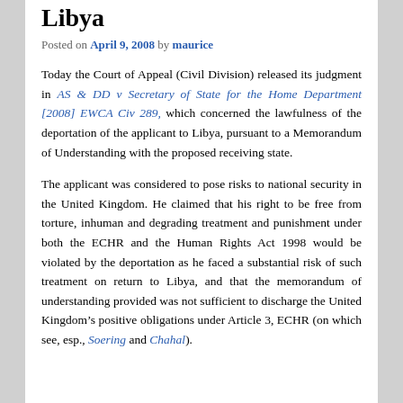Libya
Posted on April 9, 2008 by maurice
Today the Court of Appeal (Civil Division) released its judgment in AS & DD v Secretary of State for the Home Department [2008] EWCA Civ 289, which concerned the lawfulness of the deportation of the applicant to Libya, pursuant to a Memorandum of Understanding with the proposed receiving state.
The applicant was considered to pose risks to national security in the United Kingdom. He claimed that his right to be free from torture, inhuman and degrading treatment and punishment under both the ECHR and the Human Rights Act 1998 would be violated by the deportation as he faced a substantial risk of such treatment on return to Libya, and that the memorandum of understanding provided was not sufficient to discharge the United Kingdom’s positive obligations under Article 3, ECHR (on which see, esp., Soering and Chahal).